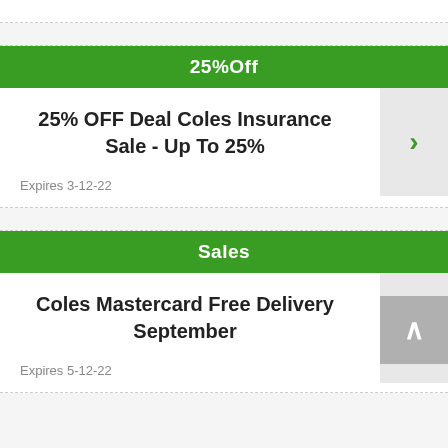25%Off
25% OFF Deal Coles Insurance Sale - Up To 25%
Expires 3-12-22
Sales
Coles Mastercard Free Delivery September
Expires 5-12-22